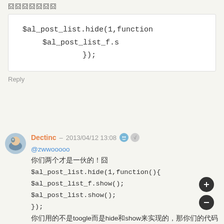（truncated/partial text at top）
[Figure (screenshot): Code block showing: $al_post_list.hide(1,function  $al_post_list_f.s  });]
Reply
Dectinc – 2013/04/12 13:08
@zwwooooo 你们两个才是一伙的！ $al_post_list.hide(1,function(){ $al_post_list_f.show(); $al_post_list.show(); }); 你们用的不是toogle而是hide和show来实现的，那你们的代码 呢
（FAB buttons at bottom right）